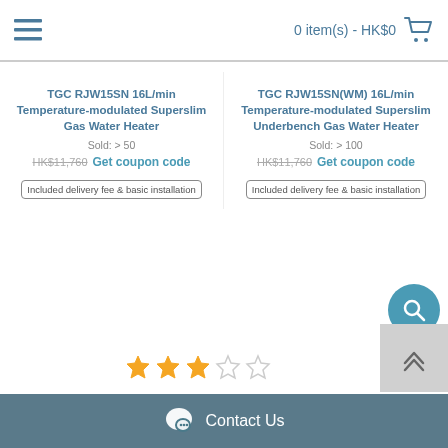0 item(s) - HK$0
TGC RJW15SN 16L/min Temperature-modulated Superslim Gas Water Heater
Sold: > 50
HK$11,760 Get coupon code
Included delivery fee & basic installation
TGC RJW15SN(WM) 16L/min Temperature-modulated Superslim Underbench Gas Water Heater
Sold: > 100
HK$11,760 Get coupon code
Included delivery fee & basic installation
[Figure (other): 3 out of 5 stars rating]
Contact Us